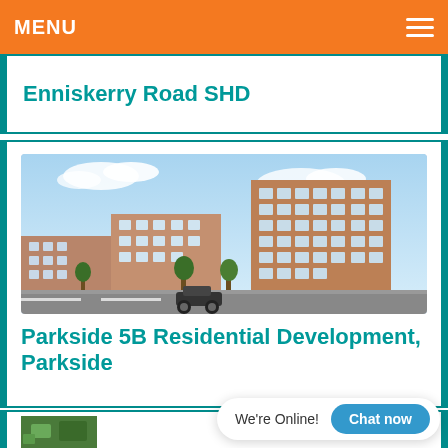MENU
Enniskerry Road SHD
[Figure (photo): Architectural rendering of a modern multi-storey brick residential apartment building with balconies, set along a road with trees]
Parkside 5B Residential Development, Parkside
[Figure (photo): Partial aerial or ground view of another development, partially visible at bottom of page]
We're Online!
Chat now